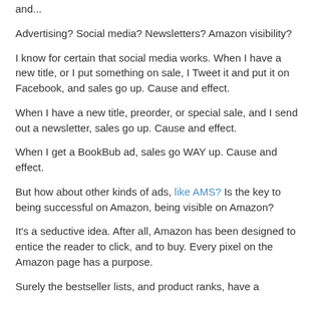and...
Advertising? Social media? Newsletters? Amazon visibility?
I know for certain that social media works. When I have a new title, or I put something on sale, I Tweet it and put it on Facebook, and sales go up. Cause and effect.
When I have a new title, preorder, or special sale, and I send out a newsletter, sales go up. Cause and effect.
When I get a BookBub ad, sales go WAY up. Cause and effect.
But how about other kinds of ads, like AMS? Is the key to being successful on Amazon, being visible on Amazon?
It's a seductive idea. After all, Amazon has been designed to entice the reader to click, and to buy. Every pixel on the Amazon page has a purpose.
Surely the bestseller lists, and product ranks, have a